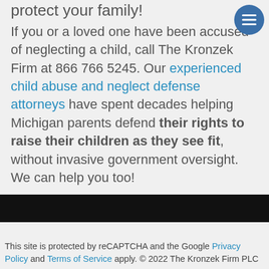protect your family!
If you or a loved one have been accused of neglecting a child, call The Kronzek Firm at 866 766 5245. Our experienced child abuse and neglect defense attorneys have spent decades helping Michigan parents defend their rights to raise their children as they see fit, without invasive government oversight. We can help you too!
This site is protected by reCAPTCHA and the Google Privacy Policy and Terms of Service apply. © 2022 The Kronzek Firm PLC